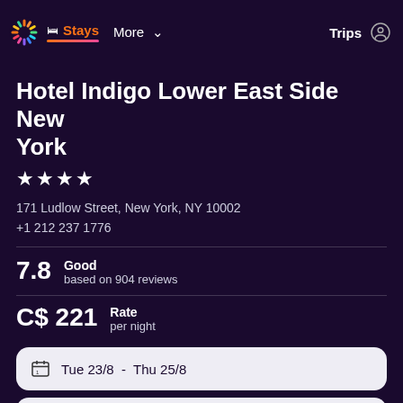Stays  More  Trips
Hotel Indigo Lower East Side New York
★★★★
171 Ludlow Street, New York, NY 10002
+1 212 237 1776
7.8  Good  based on 904 reviews
C$ 221  Rate  per night
Tue 23/8  -  Thu 25/8
1 room, 2 guests